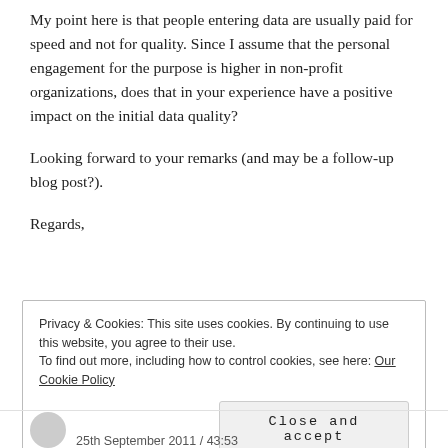My point here is that people entering data are usually paid for speed and not for quality. Since I assume that the personal engagement for the purpose is higher in non-profit organizations, does that in your experience have a positive impact on the initial data quality?
Looking forward to your remarks (and may be a follow-up blog post?).
Regards,
Privacy & Cookies: This site uses cookies. By continuing to use this website, you agree to their use.
To find out more, including how to control cookies, see here: Our Cookie Policy
Close and accept
25th September 2011 / 43:53